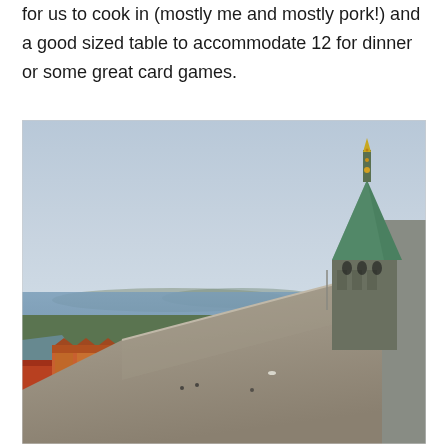for us to cook in (mostly me and mostly pork!) and a good sized table to accommodate 12 for dinner or some great card games.
[Figure (photo): Aerial view from a castle or fortress rooftop showing a green copper spire tower on the right, a panoramic view of a harbor town with red-roofed buildings in the lower left, trees, water, and a distant coastline under an overcast grey sky.]